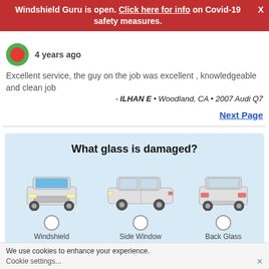Windshield Guru is open. Click here for info on Covid-19 safety measures.
4 years ago
Excellent service, the guy on the job was excellent , knowledgeable and clean job
- ILHAN E • Woodland, CA • 2007 Audi Q7
Next Page
What glass is damaged?
[Figure (illustration): Three car views with radio buttons: front view (windshield highlighted in blue), side view, and rear view, with labels Windshield, Side Window, Back Glass]
We use cookies to enhance your experience.